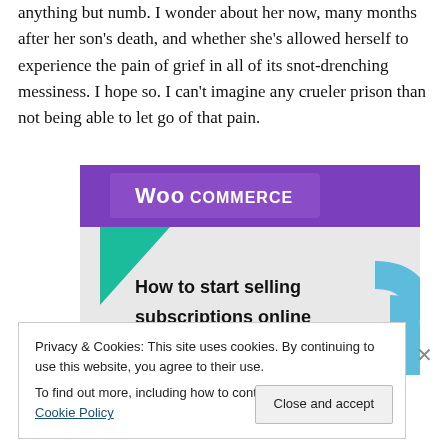anything but numb. I wonder about her now, many months after her son's death, and whether she's allowed herself to experience the pain of grief in all of its snot-drenching messiness. I hope so. I can't imagine any crueler prison than not being able to let go of that pain.
[Figure (screenshot): WooCommerce advertisement banner showing 'How to start selling subscriptions online' with purple, teal, and light blue geometric shapes on a grey background.]
Privacy & Cookies: This site uses cookies. By continuing to use this website, you agree to their use.
To find out more, including how to control cookies, see here: Cookie Policy